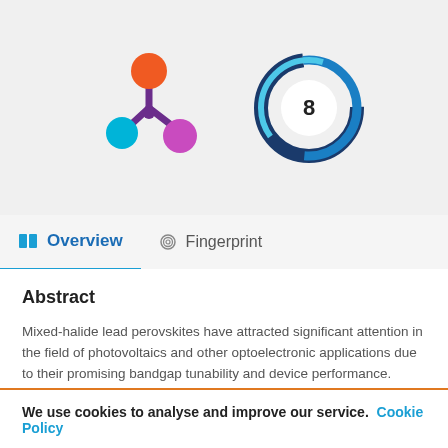[Figure (logo): Two logos side by side: left is a colorful molecule/network logo with orange, cyan, and purple circles connected by purple lines; right is a circular swirl logo in blue tones with the number 8 in the center]
Overview   Fingerprint
Abstract
Mixed-halide lead perovskites have attracted significant attention in the field of photovoltaics and other optoelectronic applications due to their promising bandgap tunability and device performance. Here, the changes in photoluminescence and
We use cookies to analyse and improve our service.  Cookie Policy